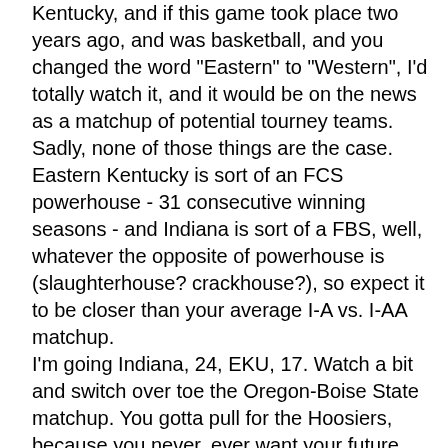Kentucky, and if this game took place two years ago, and was basketball, and you changed the word "Eastern" to "Western", I'd totally watch it, and it would be on the news as a matchup of potential tourney teams. Sadly, none of those things are the case.
Eastern Kentucky is sort of an FCS powerhouse - 31 consecutive winning seasons - and Indiana is sort of a FBS, well, whatever the opposite of powerhouse is (slaughterhouse? crackhouse?), so expect it to be closer than your average I-A vs. I-AA matchup.
I'm going Indiana, 24, EKU, 17. Watch a bit and switch over toe the Oregon-Boise State matchup. You gotta pull for the Hoosiers, because you never, ever want your future opponents to drop a game (or nine) to FCS squads.
It also should be noted that Indiana added a little over 3,000 seats to Memorial Stadium in the offseason, pushing the difference in size between our stadiums from about 2100 to about 5500. I'm not sure what the purpose of this